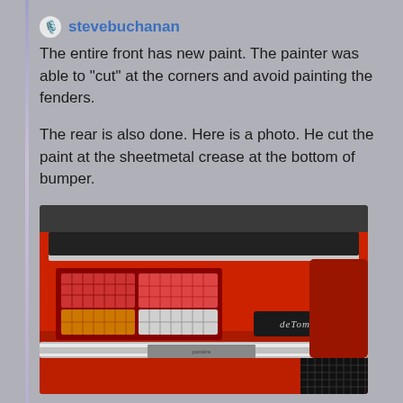stevebuchanan
The entire front has new paint.  The painter was able to "cut" at the corners and avoid painting the fenders.

The rear is also done.  Here is a photo.  He cut the paint at the sheetmetal crease at the bottom of bumper.
[Figure (photo): Rear view of a red De Tomaso sports car showing tail lights (red and amber lenses), chrome bumper, and De Tomaso badge emblem on the lower right.]